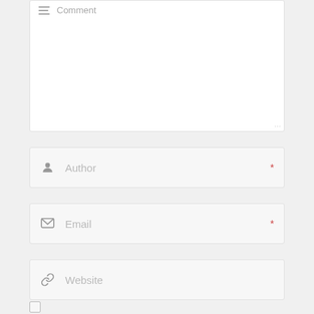[Figure (screenshot): Comment textarea form field with a lines/comment icon and placeholder text 'Comment', with resize handle at bottom right]
[Figure (screenshot): Author input field with person icon, placeholder 'Author', and red asterisk required marker]
[Figure (screenshot): Email input field with envelope icon, placeholder 'Email', and red asterisk required marker]
[Figure (screenshot): Website input field with link/chain icon and placeholder 'Website']
[Figure (screenshot): Checkbox (unchecked) at bottom left of page]